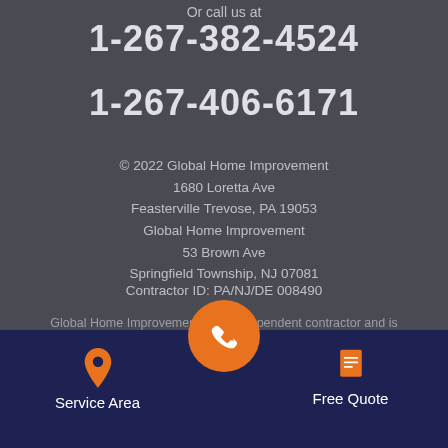Or call us at
1-267-382-4524
1-267-406-6171
© 2022 Global Home Improvement
1680 Loretta Ave
Feasterville Trevose, PA 19053
Global Home Improvement
53 Brown Ave
Springfield Township, NJ 07081
Contractor ID: PA/NJ/DE 008490
Global Home Improvement is an independent contractor and is not an affiliate of Owens Corning Roofing and Asphalt, LLC or
Service Area
Free Quote